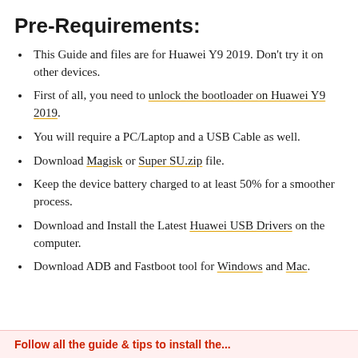Pre-Requirements:
This Guide and files are for Huawei Y9 2019. Don't try it on other devices.
First of all, you need to unlock the bootloader on Huawei Y9 2019.
You will require a PC/Laptop and a USB Cable as well.
Download Magisk or Super SU.zip file.
Keep the device battery charged to at least 50% for a smoother process.
Download and Install the Latest Huawei USB Drivers on the computer.
Download ADB and Fastboot tool for Windows and Mac.
Follow all the guide & tips to install the...